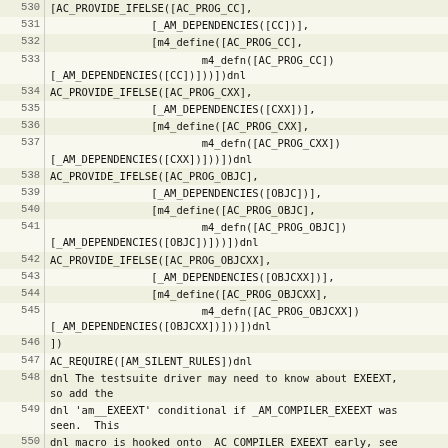| line | code |
| --- | --- |
| 530 | [AC_PROVIDE_IFELSE([AC_PROG_CC], |
| 531 |                 [_AM_DEPENDENCIES([CC])], |
| 532 |                 [m4_define([AC_PROG_CC], |
| 533 |                         m4_defn([AC_PROG_CC])
[_AM_DEPENDENCIES([CC])]))])dnl |
| 534 | AC_PROVIDE_IFELSE([AC_PROG_CXX], |
| 535 |                 [_AM_DEPENDENCIES([CXX])], |
| 536 |                 [m4_define([AC_PROG_CXX], |
| 537 |                         m4_defn([AC_PROG_CXX])
[_AM_DEPENDENCIES([CXX])]))])dnl |
| 538 | AC_PROVIDE_IFELSE([AC_PROG_OBJC], |
| 539 |                 [_AM_DEPENDENCIES([OBJC])], |
| 540 |                 [m4_define([AC_PROG_OBJC], |
| 541 |                         m4_defn([AC_PROG_OBJC])
[_AM_DEPENDENCIES([OBJC])]))])dnl |
| 542 | AC_PROVIDE_IFELSE([AC_PROG_OBJCXX], |
| 543 |                 [_AM_DEPENDENCIES([OBJCXX])], |
| 544 |                 [m4_define([AC_PROG_OBJCXX], |
| 545 |                         m4_defn([AC_PROG_OBJCXX])
[_AM_DEPENDENCIES([OBJCXX])]))])dnl |
| 546 | ]) |
| 547 | AC_REQUIRE([AM_SILENT_RULES])dnl |
| 548 | dnl The testsuite driver may need to know about EXEEXT,
so add the |
| 549 | dnl 'am__EXEEXT' conditional if _AM_COMPILER_EXEEXT was
seen.  This |
| 550 | dnl macro is hooked onto _AC_COMPILER_EXEEXT early, see
below. |
| 551 | AC_CONFIG_COMMANDS_PRE(dnl |
| 552 | [m4_provide_if([_AM_COMPILER_EXEEXT], |
| 553 |   [AM_CONDITIONAL([am__EXEEXT], [test -n
"$EXEEXT"])])]))dnl |
| 554 |  |